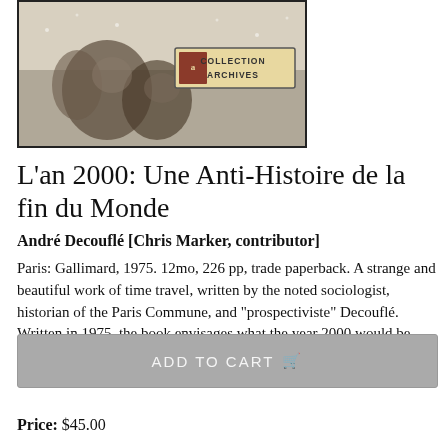[Figure (photo): Book cover image showing a winter scene with figures, labeled 'Collection Archives' with a small logo]
L'an 2000: Une Anti-Histoire de la fin du Monde
André Decouflé [Chris Marker, contributor]
Paris: Gallimard, 1975. 12mo, 226 pp, trade paperback. A strange and beautiful work of time travel, written by the noted sociologist, historian of the Paris Commune, and "prospectiviste" Decouflé. Written in 1975, the book envisages what the year 2000 would be like, 25 years in the past. The vision of..... More ›
ADD TO CART
Price: $45.00